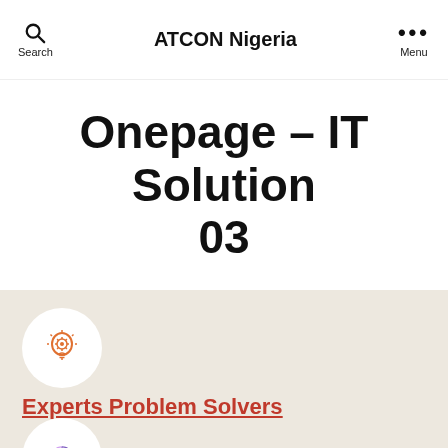ATCON Nigeria
Onepage – IT Solution 03
[Figure (illustration): Orange lightbulb icon with gear inside, in white circle on beige background]
Experts Problem Solvers
[Figure (illustration): Purple/violet pie-chart or network icon in white circle, partially visible at bottom]